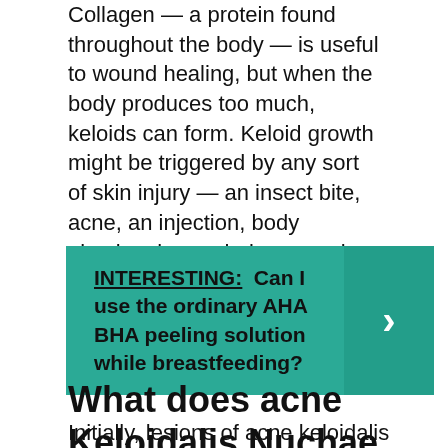Collagen — a protein found throughout the body — is useful to wound healing, but when the body produces too much, keloids can form. Keloid growth might be triggered by any sort of skin injury — an insect bite, acne, an injection, body piercing, burns, hair removal, and even minor scratches and bumps.
INTERESTING: Can I use the ordinary AHA BHA peeling solution while breastfeeding?
What does acne Keloidalis Nuchae look like?
Initially, lesions of acne keloidalis nuchae